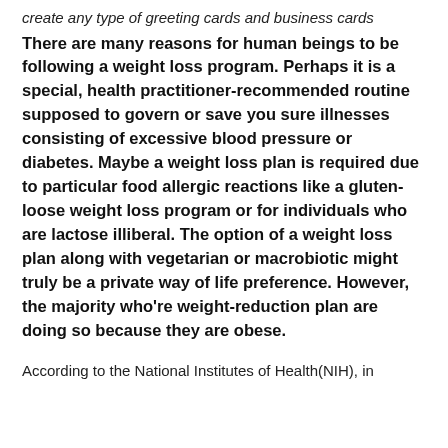create any type of greeting cards and business cards
There are many reasons for human beings to be following a weight loss program. Perhaps it is a special, health practitioner-recommended routine supposed to govern or save you sure illnesses consisting of excessive blood pressure or diabetes. Maybe a weight loss plan is required due to particular food allergic reactions like a gluten-loose weight loss program or for individuals who are lactose illiberal. The option of a weight loss plan along with vegetarian or macrobiotic might truly be a private way of life preference. However, the majority who're weight-reduction plan are doing so because they are obese.
According to the National Institutes of Health(NIH), in